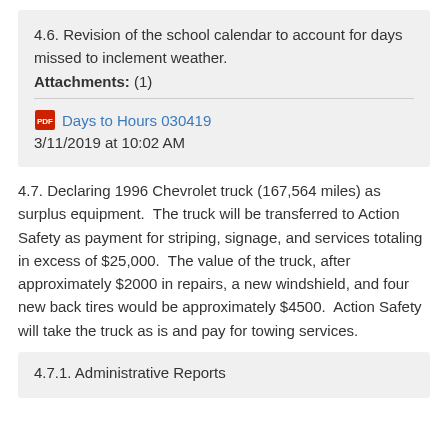4.6. Revision of the school calendar to account for days missed to inclement weather.
Attachments: (1)
Days to Hours 030419
3/11/2019 at 10:02 AM
4.7. Declaring 1996 Chevrolet truck (167,564 miles) as surplus equipment.  The truck will be transferred to Action Safety as payment for striping, signage, and services totaling in excess of $25,000.  The value of the truck, after approximately $2000 in repairs, a new windshield, and four new back tires would be approximately $4500.  Action Safety will take the truck as is and pay for towing services.
4.7.1. Administrative Reports